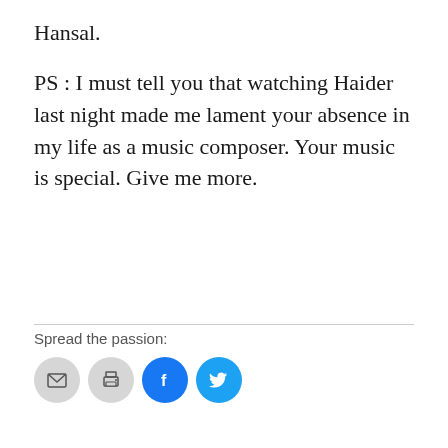Hansal.
PS : I must tell you that watching Haider last night made me lament your absence in my life as a music composer. Your music is special. Give me more.
Spread the passion:
[Figure (infographic): Four circular social sharing buttons: email (grey), print (grey), Facebook (blue), Twitter (cyan)]